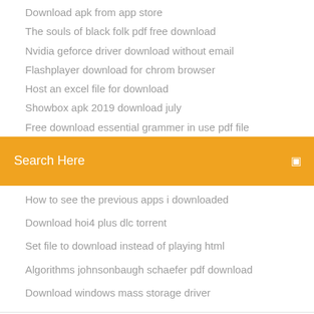Download apk from app store
The souls of black folk pdf free download
Nvidia geforce driver download without email
Flashplayer download for chrom browser
Host an excel file for download
Showbox apk 2019 download july
Free download essential grammer in use pdf file
[Figure (screenshot): Orange search bar with text 'Search Here' and a search icon on the right]
How to see the previous apps i downloaded
Download hoi4 plus dlc torrent
Set file to download instead of playing html
Algorithms johnsonbaugh schaefer pdf download
Download windows mass storage driver
Download QR & BarCode Scanner Master apk 1.0.5 for Android. Easy Scan QR & BarCode and Search the Result in Internet via one touch